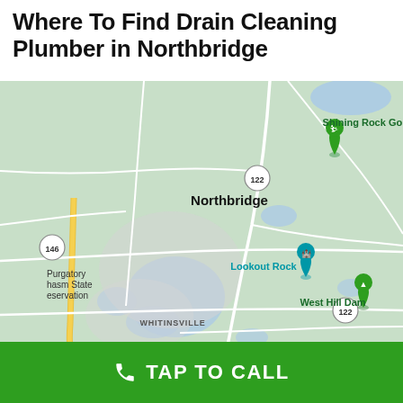Where To Find Drain Cleaning Plumber in Northbridge
[Figure (map): Google Maps view of Northbridge, Massachusetts area showing Shining Rock Golf Club, Lookout Rock, West Hill Dam, Whitinsville, Purgatory Chasm State Reservation, Blackstone River, with route markers 122 and 146.]
TAP TO CALL